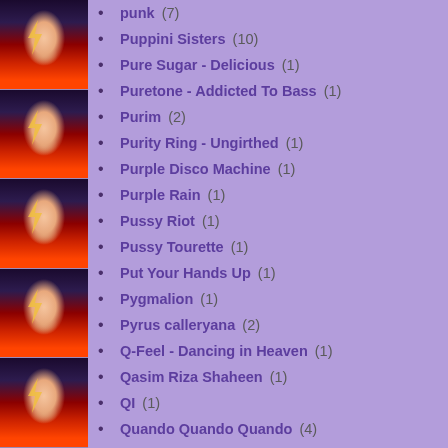[Figure (photo): Repeated tiled photos of David Bowie as Ziggy Stardust with lightning bolt face paint on left strip]
punk (7)
Puppini Sisters (10)
Pure Sugar - Delicious (1)
Puretone - Addicted To Bass (1)
Purim (2)
Purity Ring - Ungirthed (1)
Purple Disco Machine (1)
Purple Rain (1)
Pussy Riot (1)
Pussy Tourette (1)
Put Your Hands Up (1)
Pygmalion (1)
Pyrus calleryana (2)
Q-Feel - Dancing in Heaven (1)
Qasim Riza Shaheen (1)
QI (1)
Quando Quando Quando (4)
Quantic (1)
Queen (8)
Queen Bitch (3)
Queen Latifah (1)
Queen of Hearts (1)